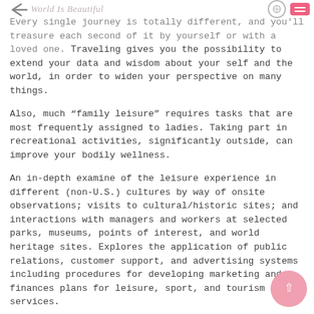World Is Beautiful
Every single journey is totally different, and you'll treasure each second of it by yourself or with a loved one. Traveling gives you the possibility to extend your data and wisdom about your self and the world, in order to widen your perspective on many things.
Also, much “family leisure” requires tasks that are most frequently assigned to ladies. Taking part in recreational activities, significantly outside, can improve your bodily wellness.
An in-depth examine of the leisure experience in different (non-U.S.) cultures by way of onsite observations; visits to cultural/historic sites; and interactions with managers and workers at selected parks, museums, points of interest, and world heritage sites. Explores the application of public relations, customer support, and advertising systems including procedures for developing marketing and finances plans for leisure, sport, and tourism services.
Unlike a enterprise journey, this type of journey nonetheless incorporates many elements of leisure journey. A number of tour businesses have begun providing “volunteer holidays,” which combine features of the leisure journey … Read More